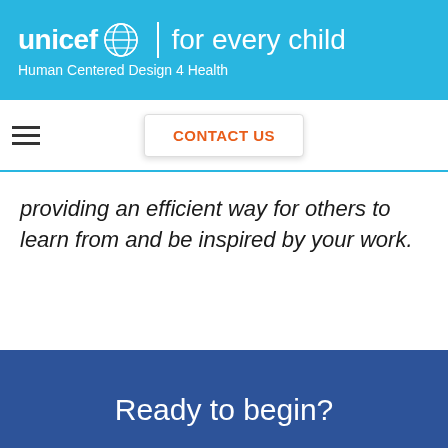unicef | for every child – Human Centered Design 4 Health
CONTACT US
providing an efficient way for others to learn from and be inspired by your work.
Ready to begin?
We use cookies and other identifiers to help improve your online experience. By using our website you agree to this. To learn more, including how to change your settings, see our cookies policy.